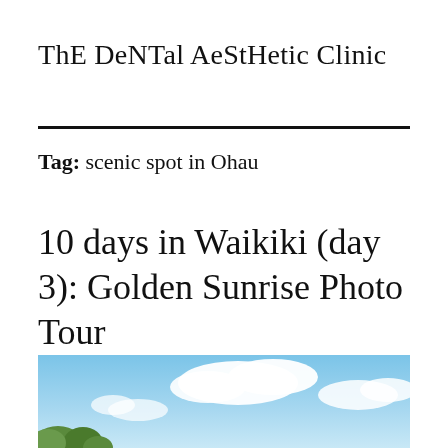ThE DeNTal AeStHetic Clinic
Tag: scenic spot in Ohau
10 days in Waikiki (day 3): Golden Sunrise Photo Tour
[Figure (photo): Outdoor sky photo showing blue sky with white clouds and green tree tops visible at the lower left corner]